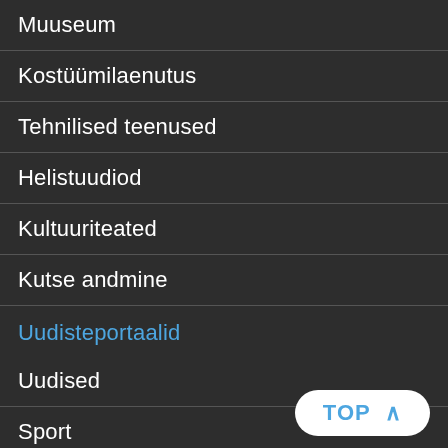Muuseum
Kostüümilaenutus
Tehnilised teenused
Helistuudiod
Kultuuriteated
Kutse andmine
Uudisteportaalid
Uudised
Sport
Kultuur
Novaator